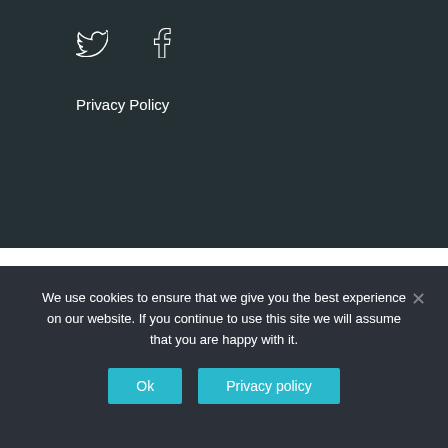[Figure (logo): Twitter bird icon (outline, white) in dark background header]
[Figure (logo): Facebook 'f' icon (outline, white) in dark background header]
Privacy Policy
[Figure (logo): Twitter bird icon (outline, gray) in white section]
[Figure (logo): Facebook 'f' icon (outline, gray) in white section]
We use cookies to ensure that we give you the best experience on our website. If you continue to use this site we will assume that you are happy with it.
Ok
Privacy policy